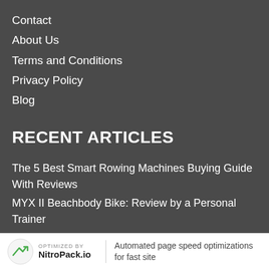Contact
About Us
Terms and Conditions
Privacy Policy
Blog
RECENT ARTICLES
The 5 Best Smart Rowing Machines Buying Guide With Reviews
MYX II Beachbody Bike: Review by a Personal Trainer
CITYROW GO Reviews – Is It the Best Smart Rower?
OPTIMIZED BY NitroPack.io | Automated page speed optimizations for fast site